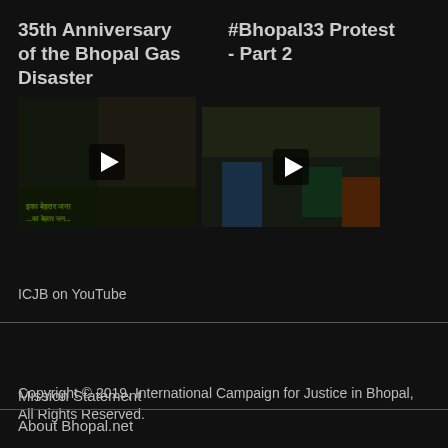35th Anniversary of the Bhopal Gas Disaster
#Bhopal33 Protest - Part 2
[Figure (screenshot): Video thumbnail showing protest march with green banner, play button overlay]
[Figure (screenshot): Video thumbnail showing crowd of people at protest, play button overlay]
ICJB on YouTube
Copyright © 2019, International Campaign for Justice in Bhopal, All Rights Reserved.
Mission Statement
About Bhopal.net